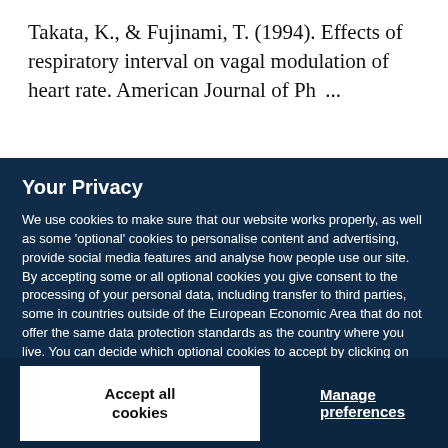Takata, K., & Fujinami, T. (1994). Effects of respiratory interval on vagal modulation of heart rate. American Journal of Physiology, 267 (Heart and Circulatory...
Your Privacy
We use cookies to make sure that our website works properly, as well as some 'optional' cookies to personalise content and advertising, provide social media features and analyse how people use our site. By accepting some or all optional cookies you give consent to the processing of your personal data, including transfer to third parties, some in countries outside of the European Economic Area that do not offer the same data protection standards as the country where you live. You can decide which optional cookies to accept by clicking on 'Manage Settings', where you can also find more information about how your personal data is processed. Further information can be found in our privacy policy.
Accept all cookies
Manage preferences